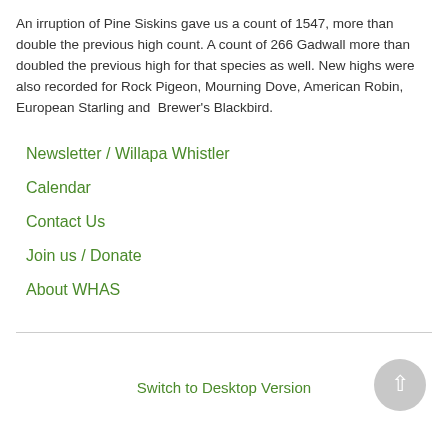An irruption of Pine Siskins gave us a count of 1547, more than double the previous high count. A count of 266 Gadwall more than doubled the previous high for that species as well. New highs were also recorded for Rock Pigeon, Mourning Dove, American Robin, European Starling and  Brewer's Blackbird.
Newsletter / Willapa Whistler
Calendar
Contact Us
Join us / Donate
About WHAS
Switch to Desktop Version